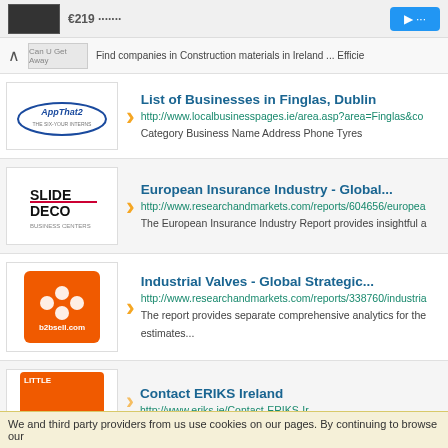Find companies in Construction materials in Ireland ... Efficie
List of Businesses in Finglas, Dublin
http://www.localbusinesspages.ie/area.asp?area=Finglas&co
Category Business Name Address Phone Tyres
European Insurance Industry - Global...
http://www.researchandmarkets.com/reports/604656/europea
The European Insurance Industry Report provides insightful a
Industrial Valves - Global Strategic...
http://www.researchandmarkets.com/reports/338760/industria
The report provides separate comprehensive analytics for the estimates...
Contact ERIKS Ireland
http://www.eriks.ie/Contact-ERIKS-Ir...
We and third party providers from us use cookies on our pages. By continuing to browse our